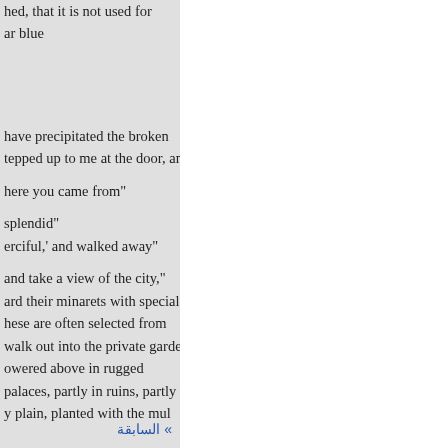the arabesque style. It remains to be established, that it is not used for ar blue
have precipitated the broken tepped up to me at the door, and
here you came from"
splendid"
erciful,' and walked away"
and take a view of the city," ard their minarets with special hese are often selected from walk out into the private gardens. owered above in rugged palaces, partly in ruins, partly y plain, planted with the mul
» السابقة